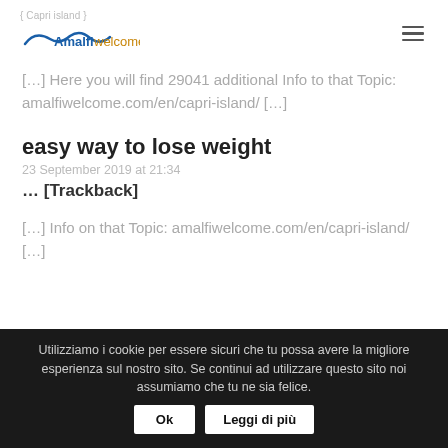Amalfiwelcome (logo)
[…] Here you will find 29041 additional Info to that Topic: amalfiwelcome.com/en/capri-island/ […]
easy way to lose weight
23 September 2019 at 21:34
… [Trackback]
[…] Info on that Topic: amalfiwelcome.com/en/capri-island/ […]
Utilizziamo i cookie per essere sicuri che tu possa avere la migliore esperienza sul nostro sito. Se continui ad utilizzare questo sito noi assumiamo che tu ne sia felice.